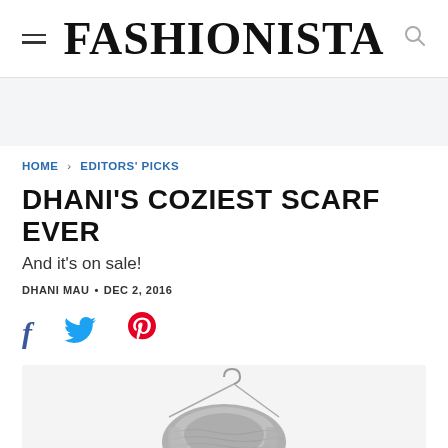FASHIONISTA
HOME > EDITORS' PICKS
DHANI'S COZIEST SCARF EVER
And it's on sale!
DHANI MAU • DEC 2, 2016
[Figure (infographic): Social share icons: Facebook (f), Twitter (bird), Pinterest (P)]
[Figure (photo): A grey knit scarf draped over a metal clothes hanger against a light grey/white background]